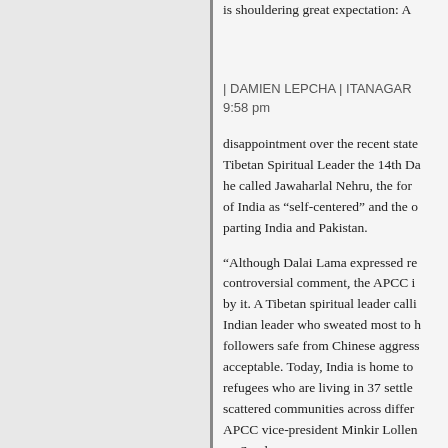is shouldering great expectation: A
| DAMIEN LEPCHA | ITANAGAR 9:58 pm
disappointment over the recent state Tibetan Spiritual Leader the 14th Da he called Jawaharlal Nehru, the for of India as “self-centered” and the o parting India and Pakistan.
“Although Dalai Lama expressed re controversial comment, the APCC i by it. A Tibetan spiritual leader calli Indian leader who sweated most to followers safe from Chinese aggress acceptable. Today, India is home to refugees who are living in 37 settle scattered communities across differ APCC vice-president Minkir Lolle on Sunday.
“Dalai Lama may have forgotten th